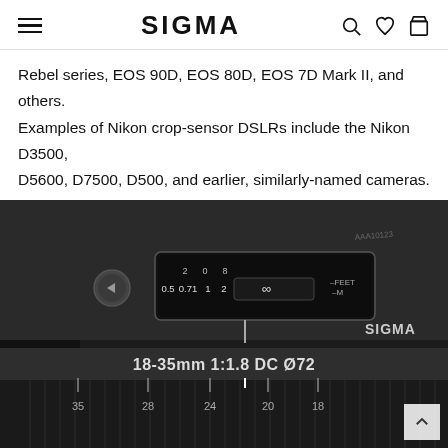SIGMA
Rebel series, EOS 90D, EOS 80D, EOS 7D Mark II, and others. Examples of Nikon crop-sensor DSLRs include the Nikon D3500, D5600, D7500, D500, and earlier, similarly-named cameras. Nikon crop-sensor cameras can be easily identified by their “DX” format designation.
[Figure (photo): Close-up photo of a Sigma 18-35mm 1:1.8 DC Ø72 camera lens showing the distance scale window with markings (0.5, 0.71, 1, 2, infinity in feet and meters), the zoom ring with focal length markings (35, 28, 24, 20, 18), and the SIGMA brand name on the barrel. Serial number AAA10123 visible on top.]